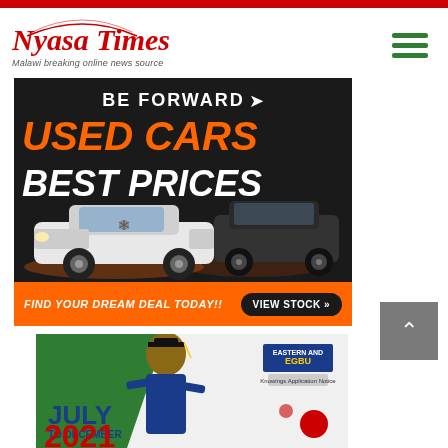[Figure (logo): Nyasa Times logo with red gothic text and tagline 'Malawi breaking online news source']
[Figure (advertisement): Be Forward used cars advertisement - 'USED CARS BEST PRICES' with orange and dark background, two cars, 'FIND YOUR DREAM DEAL TODAY!! VIEW STOCK']
[Figure (advertisement): EGBU university advertisement showing graduate student with JULY TO DECEMBER 2021 text]